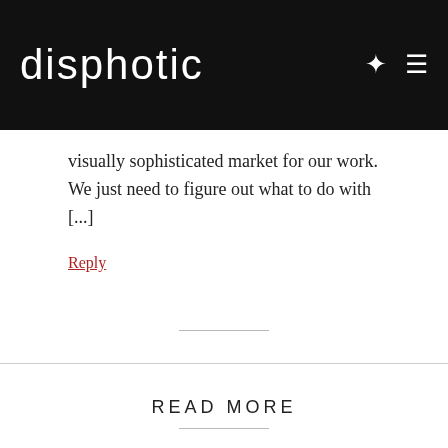disphotic
visually sophisticated market for our work. We just need to figure out what to do with [...]
Reply
READ MORE